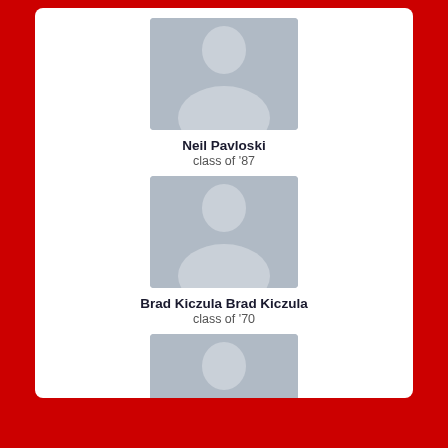[Figure (illustration): Placeholder avatar silhouette for Neil Pavloski]
Neil Pavloski
class of '87
[Figure (illustration): Placeholder avatar silhouette for Brad Kiczula Brad Kiczula]
Brad Kiczula Brad Kiczula
class of '70
[Figure (illustration): Placeholder avatar silhouette for Conrad Brock]
Conrad Brock
class of '99